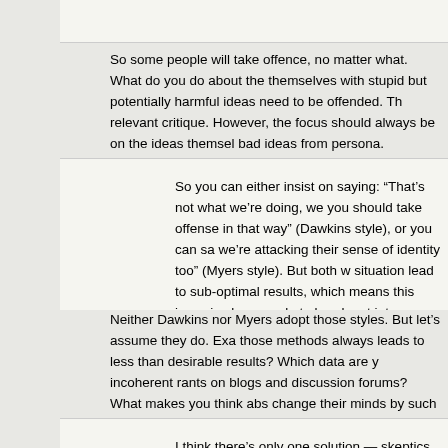So some people will take offence, no matter what. What do you do about the themselves with stupid but potentially harmful ideas need to be offended. Th relevant critique. However, the focus should always be on the ideas themsel bad ideas from persona.
So you can either insist on saying: “That’s not what we’re doing, we you should take offense in that way” (Dawkins style), or you can sa we’re attacking their sense of identity too” (Myers style). But both w situation lead to sub-optimal results, which means this issue is alwa people to break out into apoplectic fits.
Neither Dawkins nor Myers adopt those styles. But let’s assume they do. Exa those methods always leads to less than desirable results? Which data are y incoherent rants on blogs and discussion forums? What makes you think abs change their minds by such abrasive yet honest arguments?
I think there’s only one solution — skeptics and humanists have to leftist political activists, and take the phrase “Diversity of tactics” to